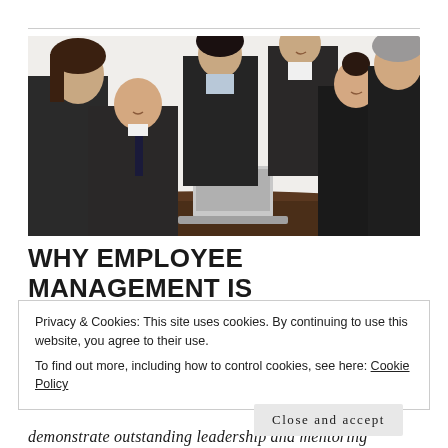[Figure (photo): Business professionals in formal attire gathered around a table, two people shaking hands in the center, with a laptop on the table. Group meeting scene with men and women in dark suits.]
WHY EMPLOYEE MANAGEMENT IS IMPORTANT
Privacy & Cookies: This site uses cookies. By continuing to use this website, you agree to their use.
To find out more, including how to control cookies, see here: Cookie Policy

Close and accept
demonstrate outstanding leadership and mentoring